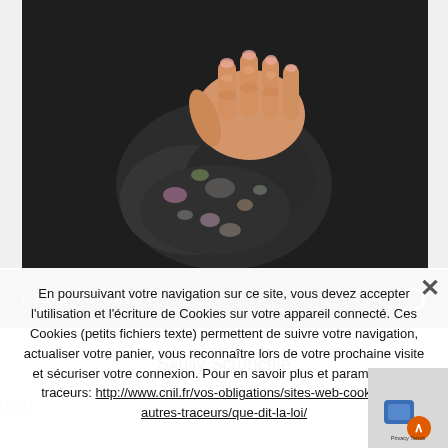[Figure (photo): A hand holding a dark floral scrunchie hair accessory against a dark background. The scrunchie is made of dark fabric with floral patterns in pink, white, and green.]
+ ADD TO CART
Scrunchies
Skully Scrunchie
8,00 €
En poursuivant votre navigation sur ce site, vous devez accepter l'utilisation et l'écriture de Cookies sur votre appareil connecté. Ces Cookies (petits fichiers texte) permettent de suivre votre navigation, actualiser votre panier, vous reconnaître lors de votre prochaine visite et sécuriser votre connexion. Pour en savoir plus et paramétrer les traceurs: http://www.cnil.fr/vos-obligations/sites-web-cookies-et-autres-traceurs/que-dit-la-loi/
NEW
[Figure (logo): Privacy Terms logo badge in bottom right corner]